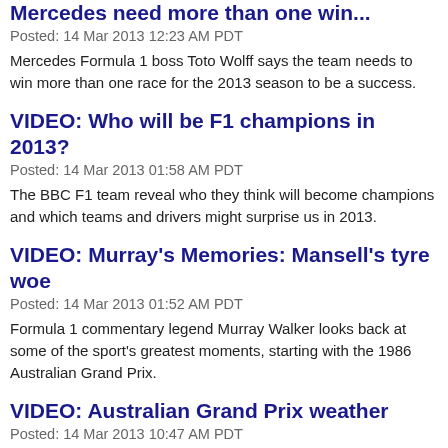Mercedes need more than one win...
Posted: 14 Mar 2013 12:23 AM PDT
Mercedes Formula 1 boss Toto Wolff says the team needs to win more than one race for the 2013 season to be a success.
VIDEO: Who will be F1 champions in 2013?
Posted: 14 Mar 2013 01:58 AM PDT
The BBC F1 team reveal who they think will become champions and which teams and drivers might surprise us in 2013.
VIDEO: Murray's Memories: Mansell's tyre woe
Posted: 14 Mar 2013 01:52 AM PDT
Formula 1 commentary legend Murray Walker looks back at some of the sport's greatest moments, starting with the 1986 Australian Grand Prix.
VIDEO: Australian Grand Prix weather
Posted: 14 Mar 2013 10:47 AM PDT
What is the forecast for Melbourne this weekend? Ian Fergusson has an update.
VIDEO: Drivers gearing up for new F1...